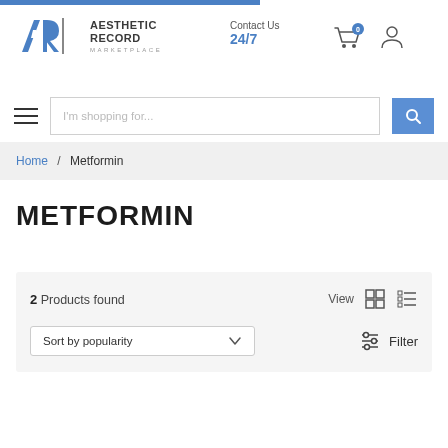[Figure (logo): Aesthetic Record Marketplace logo with AR initials in blue and brand name in dark gray]
Contact Us
24/7
I'm shopping for...
Home / Metformin
METFORMIN
2 Products found
View
Sort by popularity
Filter